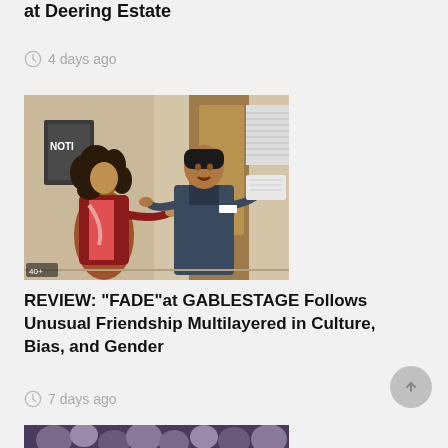at Deering Estate
4 days ago
[Figure (photo): Two actors on stage: a woman with curly hair in a red jacket and a man in blue coveralls gesturing expressively in an office setting.]
REVIEW: “FADE”at GABLESTAGE Follows Unusual Friendship Multilayered in Culture, Bias, and Gender
7 days ago
[Figure (photo): Partially visible photo at the bottom of the page showing people at what appears to be a social gathering or event.]